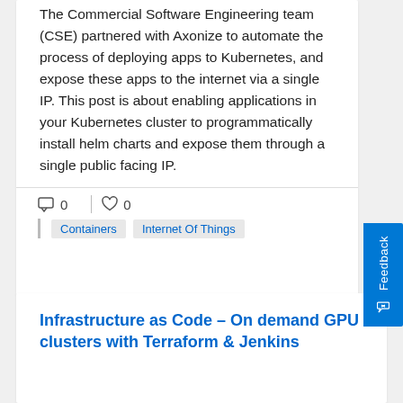The Commercial Software Engineering team (CSE) partnered with Axonize to automate the process of deploying apps to Kubernetes, and expose these apps to the internet via a single IP. This post is about enabling applications in your Kubernetes cluster to programmatically install helm charts and expose them through a single public facing IP.
□ 0  ♡ 0
Containers   Internet Of Things
Infrastructure as Code – On demand GPU clusters with Terraform & Jenkins